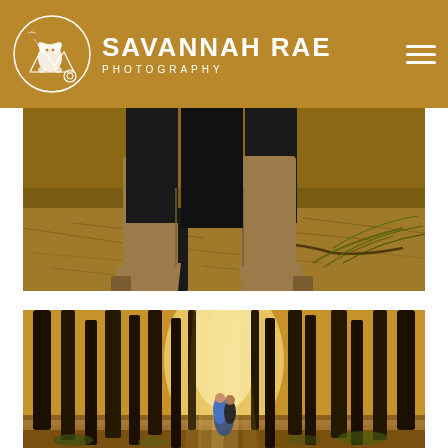[Figure (other): Website header bar with golden/amber background containing Savannah Rae Photography logo (circular emblem with mountains and wildlife illustration), brand name SAVANNAH RAE in large white bold text, PHOTOGRAPHY in spaced white letters beneath, and hamburger menu icon (three white horizontal lines) on the right.]
[Figure (photo): Close-up outdoor photography of a person's legs wearing black pants and tan/brown ankle boots, standing on dry pine needle covered forest ground with pine branches and sticks visible.]
[Figure (photo): Wide shot forest photography with tall pine trees, warm golden sunlight streaming through the trees, and a couple embracing in the background center of a forest path.]